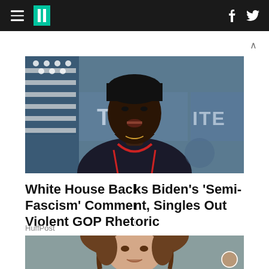HuffPost navigation bar with hamburger menu, logo, Facebook and Twitter icons
[Figure (photo): Press briefing room photo showing a Black woman in a dark jacket with red trim speaking at the White House podium, with an American flag and 'THE WHITE HOUSE' text visible in background]
White House Backs Biden's 'Semi-Fascism' Comment, Singles Out Violent GOP Rhetoric
HuffPost
[Figure (photo): Close-up video thumbnail of a white woman with wavy brown hair speaking, teal/grey background]